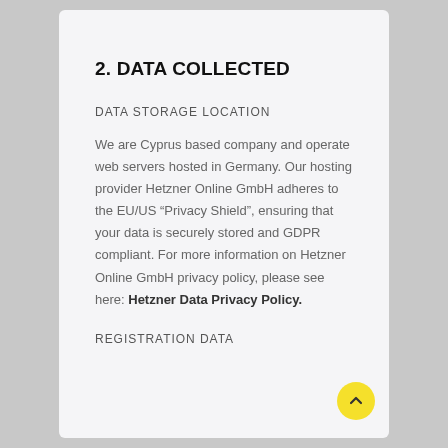2. DATA COLLECTED
DATA STORAGE LOCATION
We are Cyprus based company and operate web servers hosted in Germany. Our hosting provider Hetzner Online GmbH adheres to the EU/US “Privacy Shield”, ensuring that your data is securely stored and GDPR compliant. For more information on Hetzner Online GmbH privacy policy, please see here: Hetzner Data Privacy Policy.
REGISTRATION DATA